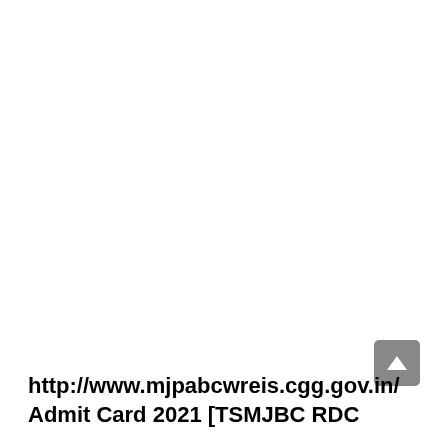http://www.mjpabcwreis.cgg.gov.in/ Admit Card 2021 [TSMJBC RDC